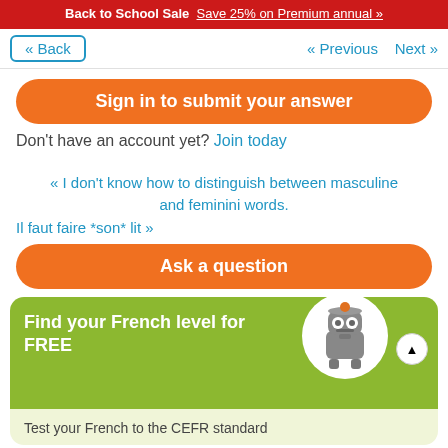Back to School Sale  Save 25% on Premium annual »
« Back   « Previous  Next »
Sign in to submit your answer
Don't have an account yet? Join today
« I don't know how to distinguish between masculine and feminini words.
Il faut faire *son* lit »
Ask a question
Find your French level for FREE
Test your French to the CEFR standard